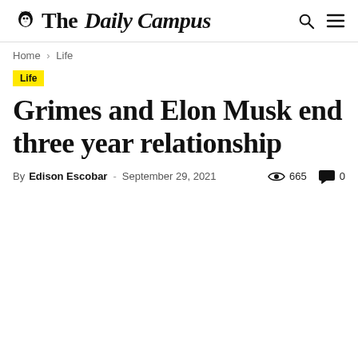The Daily Campus
Home › Life
Life
Grimes and Elon Musk end three year relationship
By Edison Escobar - September 29, 2021   665   0